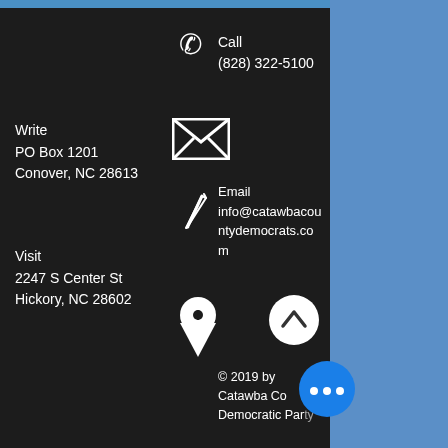Call
(828) 322-5100
Write
PO Box 1201
Conover, NC 28613
Email
info@catawbacountydemocrats.com
Visit
2247 S Center St
Hickory, NC 28602
© 2019 by Catawba Co Democratic Party